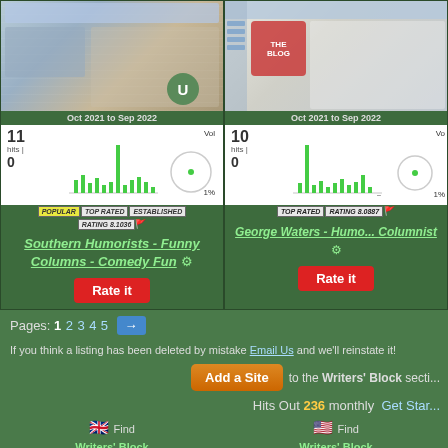[Figure (screenshot): Southern Humorists website screenshot thumbnail with U badge]
Oct 2021 to Sep 2022
[Figure (bar-chart): Bar chart showing 11 hits with volume circle 1%]
[Figure (infographic): Badges: POPULAR TOP RATED ESTABLISHED, RATING 8.1036]
Southern Humorists - Funny Columns - Comedy Fun
Rate it
[Figure (screenshot): George Waters - Humorous Columnist website screenshot thumbnail]
Oct 2021 to Sep 2022
[Figure (bar-chart): Bar chart showing 10 hits with volume circle]
[Figure (infographic): Badges: TOP RATED, RATING 8.0887]
George Waters - Humorous Columnist
Rate it
Pages: 1 2 3 4 5 →
If you think a listing has been deleted by mistake Email Us and we'll reinstate it!
Add a Site
to the Writers' Block secti...
Hits Out 236 monthly  Get Star...
Find Writers' Block
Find Writers' Block